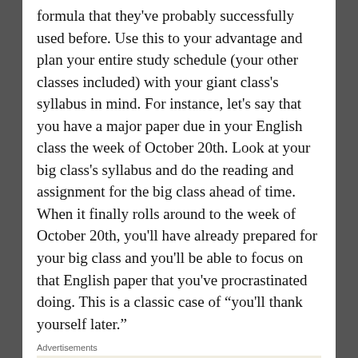formula that they've probably successfully used before. Use this to your advantage and plan your entire study schedule (your other classes included) with your giant class's syllabus in mind. For instance, let's say that you have a major paper due in your English class the week of October 20th. Look at your big class's syllabus and do the reading and assignment for the big class ahead of time. When it finally rolls around to the week of October 20th, you'll have already prepared for your big class and you'll be able to focus on that English paper that you've procrastinated doing. This is a classic case of “you'll thank yourself later.”
Advertisements
[Figure (other): WordPress advertisement banner with text 'Professionally designed sites in less than a week' and WordPress logo on beige background.]